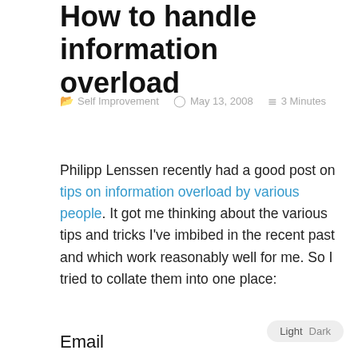How to handle information overload
Self Improvement   May 13, 2008   3 Minutes
Philipp Lenssen recently had a good post on tips on information overload by various people. It got me thinking about the various tips and tricks I've imbibed in the recent past and which work reasonably well for me. So I tried to collate them into one place:
Email